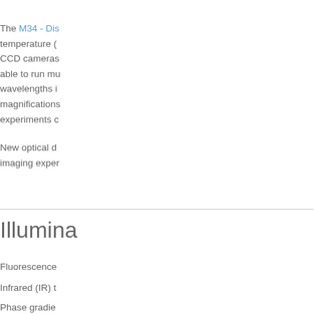The M34 - Dis temperature ( CCD cameras able to run mu wavelengths i magnifications experiments c
New optical d imaging exper
Illumina
Fluorescence
Infrared (IR) t
Phase gradie